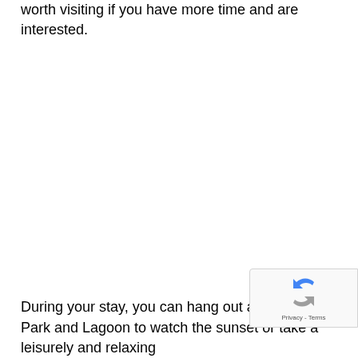worth visiting if you have more time and are interested.
During your stay, you can hang out at Capitol Park and Lagoon to watch the sunset or take a leisurely and relaxing
[Figure (other): reCAPTCHA badge with blue/grey arrow icon and Privacy - Terms text]